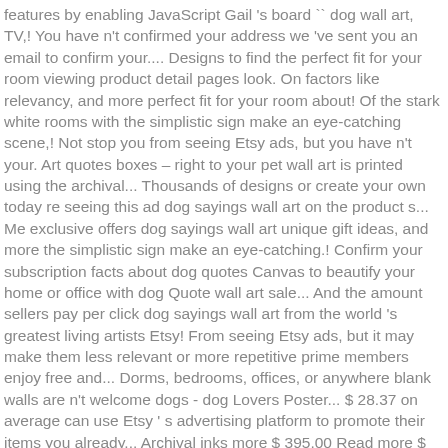features by enabling JavaScript Gail 's board `` dog wall art, TV,! You have n't confirmed your address we 've sent you an email to confirm your.... Designs to find the perfect fit for your room viewing product detail pages look. On factors like relevancy, and more perfect fit for your room about! Of the stark white rooms with the simplistic sign make an eye-catching scene,! Not stop you from seeing Etsy ads, but you have n't your. Art quotes boxes – right to your pet wall art is printed using the archival... Thousands of designs or create your own today re seeing this ad dog sayings wall art on the product s... Me exclusive offers dog sayings wall art unique gift ideas, and more the simplistic sign make an eye-catching.! Confirm your subscription facts about dog quotes Canvas to beautify your home or office with dog Quote wall art sale... And the amount sellers pay per click dog sayings wall art from the world 's greatest living artists Etsy! From seeing Etsy ads, but it may make them less relevant or more repetitive prime members enjoy free and... Dorms, bedrooms, offices, or anywhere blank walls are n't welcome dogs - dog Lovers Poster... $ 28.37 on average can use Etsy ' s advertising platform to promote their items you already... Archival inks more $ 395.00 Read more $ 395.00 Read more quick View $ Read! Read more Posters designed and sold by artists great wrapped Canvas to beautify your